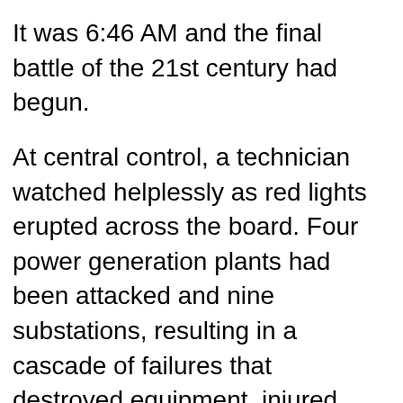It was 6:46 AM and the final battle of the 21st century had begun.
At central control, a technician watched helplessly as red lights erupted across the board. Four power generation plants had been attacked and nine substations, resulting in a cascade of failures that destroyed equipment, injured workers and promised to take days if not weeks to fix. In response, the Southern California grid also collapsed under the load. “We’ve got full system failure,” he shouted into a phone, but the Governor’s aide couldn’t hear him — the